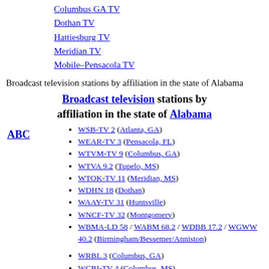Columbus GA TV
Dothan TV
Hattiesburg TV
Meridian TV
Mobile–Pensacola TV
Broadcast television stations by affiliation in the state of Alabama
Broadcast television stations by affiliation in the state of Alabama
WSB-TV 2 (Atlanta, GA)
WEAR-TV 3 (Pensacola, FL)
WTVM-TV 9 (Columbus, GA)
WTVA 9.2 (Tupelo, MS)
WTOK-TV 11 (Meridian, MS)
WDHN 18 (Dothan)
WAAY-TV 31 (Huntsville)
WNCF-TV 32 (Montgomery)
WBMA-LD 58 / WABM 68.2 / WDBB 17.2 / WGWW 40.2 (Birmingham/Bessemer/Anniston)
WRBL 3 (Columbus, GA)
WCBI-TV 4 (Columbus, MS)
WTVY 4 (Dothan)